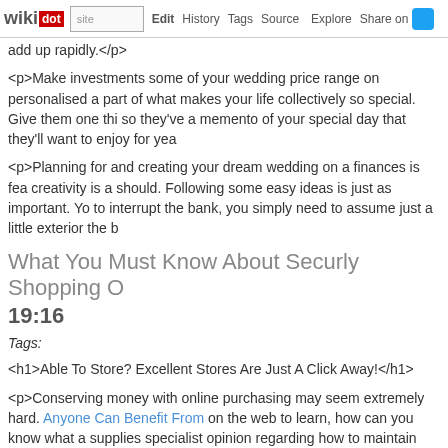wikidot | site | Edit | History | Tags | Source | Explore | Share on [twitter]
add up rapidly.</p>
<p>Make investments some of your wedding price range on personalised a part of what makes your life collectively so special. Give them one thi so they've a memento of your special day that they'll want to enjoy for yea
<p>Planning for and creating your dream wedding on a finances is fea creativity is a should. Following some easy ideas is just as important. Yo to interrupt the bank, you simply need to assume just a little exterior the b
What You Must Know About Securly Shopping O
19:16
Tags:
<h1>Able To Store? Excellent Stores Are Just A Click Away!</h1>
<p>Conserving money with online purchasing may seem extremely hard. Anyone Can Benefit From on the web to learn, how can you know what a supplies specialist opinion regarding how to maintain your internet shopp you study it these days.</p>
<p>An effective online shopping tip to not forget is to abandon com resource you've in no way purchased from well before. This will assist y whether or not you've had a good encounter from their store, and they w </p>
<p>Make certain that you're getting into your settlement particular &quot;https://&quot; inside the Website url of your web site that your